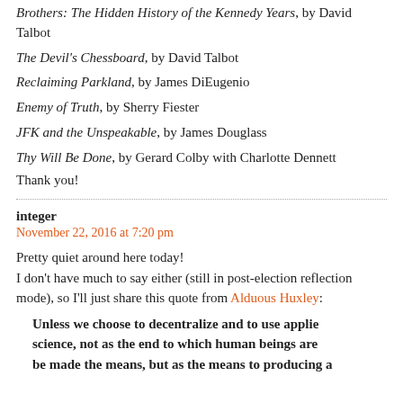Brothers: The Hidden History of the Kennedy Years, by David Talbot
The Devil's Chessboard, by David Talbot
Reclaiming Parkland, by James DiEugenio
Enemy of Truth, by Sherry Fiester
JFK and the Unspeakable, by James Douglass
Thy Will Be Done, by Gerard Colby with Charlotte Dennett
Thank you!
integer
November 22, 2016 at 7:20 pm
Pretty quiet around here today!
I don't have much to say either (still in post-election reflection mode), so I'll just share this quote from Alduous Huxley:
Unless we choose to decentralize and to use applied science, not as the end to which human beings are to be made the means, but as the means to producing a